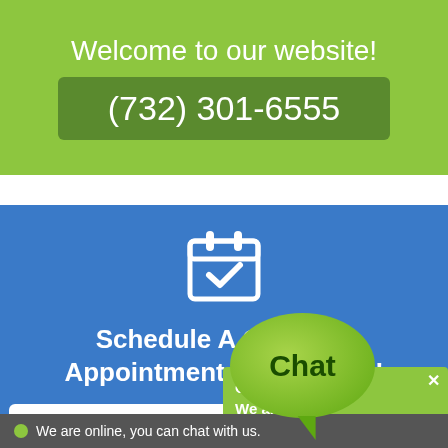Welcome to our website!
(732) 301-6555
[Figure (illustration): Calendar icon with a checkmark, white on blue background]
Schedule A Cleaning Appointment Online Now!
SCHEDULE CLEANING
[Figure (illustration): Green chat bubble with the word 'Chat' inside]
Click to chat. We are ready to help you.
We are online, you can chat with us.